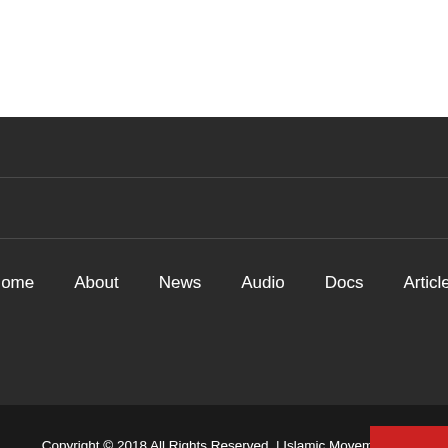Home   About   News   Audio   Docs   Articles
Copyright © 2018 All Rights Reserved. | Islamic Movement in Nigeria